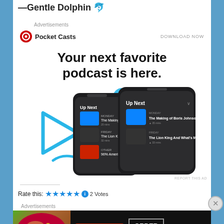—Gentle Dolphin 🐬
Advertisements
[Figure (screenshot): Pocket Casts advertisement banner with logo and DOWNLOAD NOW link]
[Figure (screenshot): Pocket Casts ad showing two phones with 'Your next favorite podcast is here.' text and phone screenshots of the app]
REPORT THIS AD
Rate this: ★★★★★ ℹ 2 Votes
Advertisements
[Figure (screenshot): Seamless food delivery advertisement banner with pizza image, seamless logo in red, and ORDER NOW button]